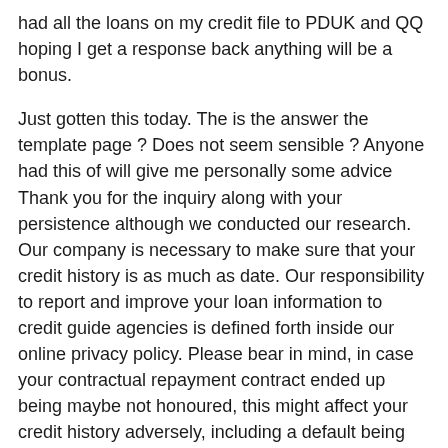had all the loans on my credit file to PDUK and QQ hoping I get a response back anything will be a bonus.
Just gotten this today. The is the answer the template page ? Does not seem sensible ? Anyone had this of will give me personally some advice Thank you for the inquiry along with your persistence although we conducted our research. Our company is necessary to make sure that your credit history is as much as date. Our responsibility to report and improve your loan information to credit guide agencies is defined forth inside our online privacy policy. Please bear in mind, in case your contractual repayment contract ended up being maybe not honoured, this might affect your credit history adversely, including a default being registered.
Our documents suggest loan 1666952 and loan 1772628 contractual payment dates had been perhaps not honoured. We reached away to you many times to e to a reasonable repayment arrangement; but, all tries to find an appropriate